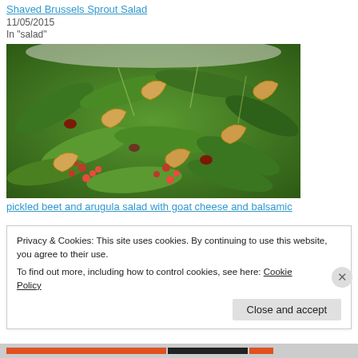Shaved Brussels Sprout Salad
11/05/2015
In "salad"
[Figure (photo): Close-up photo of a salad bowl with arugula, cashews, pomegranate seeds, and mixed greens]
pickled beet and arugula salad with goat cheese and balsamic
Privacy & Cookies: This site uses cookies. By continuing to use this website, you agree to their use.
To find out more, including how to control cookies, see here: Cookie Policy
Close and accept